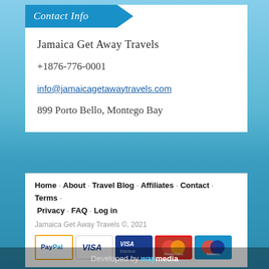Contact Info
Jamaica Get Away Travels
+1876-776-0001
info@jamaicagetawaytravels.com
899 Porto Bello, Montego Bay
Home · About · Travel Blog · Affiliates · Contact · Terms · Privacy · FAQ · Log in
Jamaica Get Away Travels ©, 2021
[Figure (other): Payment method logos: PayPal, Visa, Visa Electron, MasterCard, Maestro]
Developed by waymedia